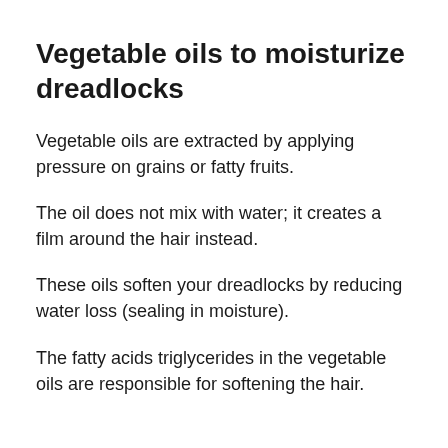Vegetable oils to moisturize dreadlocks
Vegetable oils are extracted by applying pressure on grains or fatty fruits.
The oil does not mix with water; it creates a film around the hair instead.
These oils soften your dreadlocks by reducing water loss (sealing in moisture).
The fatty acids triglycerides in the vegetable oils are responsible for softening the hair.